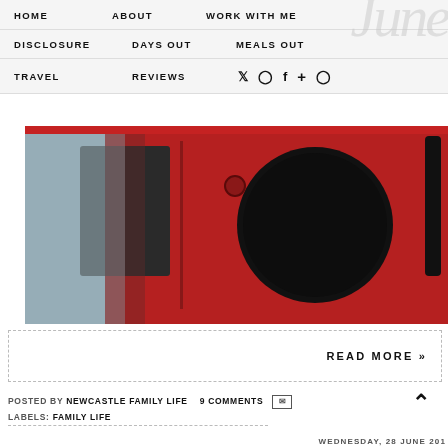HOME   ABOUT   WORK WITH ME   DISCLOSURE   DAYS OUT   MEALS OUT   TRAVEL   REVIEWS
[Figure (photo): Close-up photo of red industrial machinery with a large circular dark opening, bolts, pipes, and smoke/steam in the background]
READ MORE »
POSTED BY NEWCASTLE FAMILY LIFE   9 COMMENTS   [email icon]
LABELS: FAMILY LIFE
WEDNESDAY, 28 JUNE 201